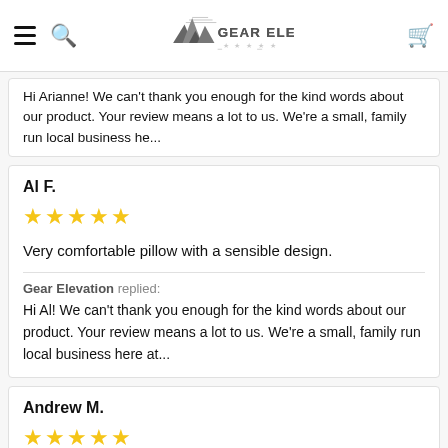Gear Elevation — navigation header
Hi Arianne! We can't thank you enough for the kind words about our product. Your review means a lot to us. We're a small, family run local business he...
Al F.
★★★★★
Very comfortable pillow with a sensible design.
Gear Elevation replied: Hi Al! We can't thank you enough for the kind words about our product. Your review means a lot to us. We're a small, family run local business here at...
Andrew M.
★★★★★
SO THANKFUL AND RELIEVED THE SEARCH IS OVER. It is amazing and has SOLVED my neck issues in ONE...